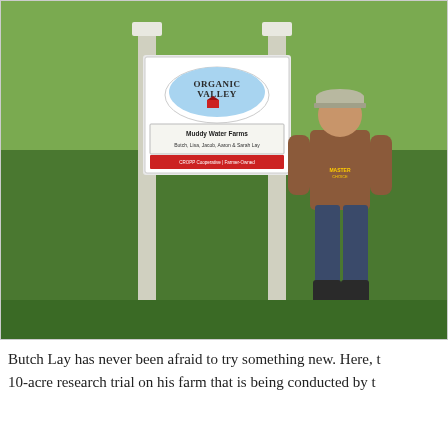[Figure (photo): A man (Butch Lay) stands next to an Organic Valley farm sign reading 'Muddy Water Farms, Butch, Lisa, Jacob, Aaron & Sarah Lay, CROPP Cooperative | Farmer-Owned'. He is wearing a brown t-shirt, jeans, and rubber boots, standing on a green grassy hillside.]
Butch Lay has never been afraid to try something new. Here, t 10-acre research trial on his farm that is being conducted by t